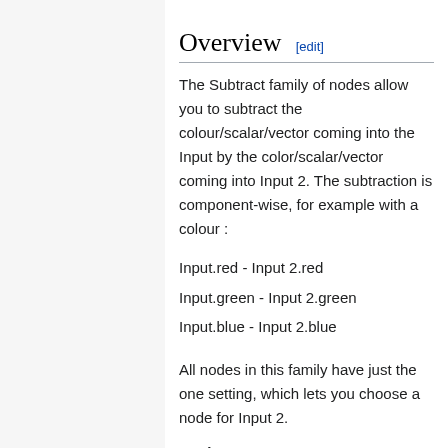Overview [edit]
The Subtract family of nodes allow you to subtract the colour/scalar/vector coming into the Input by the color/scalar/vector coming into Input 2. The subtraction is component-wise, for example with a colour :
Input.red - Input 2.red
Input.green - Input 2.green
Input.blue - Input 2.blue
All nodes in this family have just the one setting, which lets you choose a node for Input 2.
Settings: